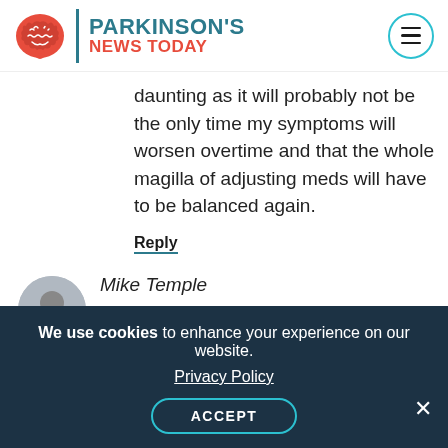[Figure (logo): Parkinson's News Today logo with brain icon, divider, and site name]
daunting as it will probably not be the only time my symptoms will worsen overtime and that the whole magilla of adjusting meds will have to be balanced again.
Reply
Mike Temple
I to am a survivor.I ride bikes regularly and run . And I fall… but I will not be beaten buy Mr
We use cookies to enhance your experience on our website. Privacy Policy ACCEPT